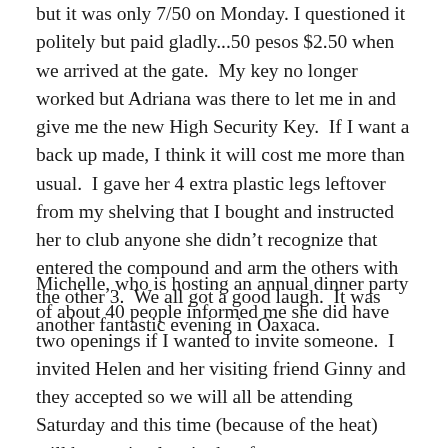but it was only 7/50 on Monday. I questioned it politely but paid gladly...50 pesos $2.50 when we arrived at the gate. My key no longer worked but Adriana was there to let me in and give me the new High Security Key. If I want a back up made, I think it will cost me more than usual. I gave her 4 extra plastic legs leftover from my shelving that I bought and instructed her to club anyone she didn't recognize that entered the compound and arm the others with the other 3. We all got a good laugh. It was another fantastic evening in Oaxaca.
Michelle, who is hosting an annual dinner party of about 40 people informed me she did have two openings if I wanted to invite someone. I invited Helen and her visiting friend Ginny and they accepted so we will all be attending Saturday and this time (because of the heat) will be starting late in the afternoon so we get to see the glorious stars